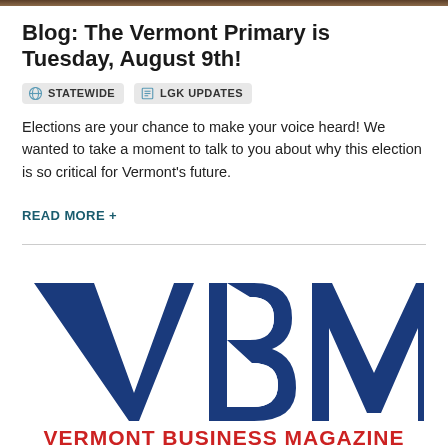Blog: The Vermont Primary is Tuesday, August 9th!
STATEWIDE   LGK UPDATES
Elections are your chance to make your voice heard! We wanted to take a moment to talk to you about why this election is so critical for Vermont's future.
READ MORE +
[Figure (logo): Vermont Business Magazine logo with large blue VBM letters and red text VERMONT BUSINESS MAGAZINE below]